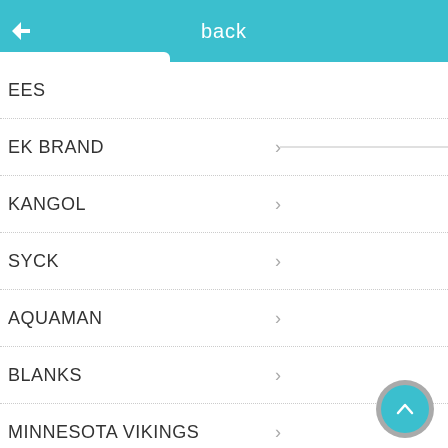back
EES
EK BRAND
KANGOL
SYCK
AQUAMAN
BLANKS
MINNESOTA VIKINGS
OAKLAND RAIDERS